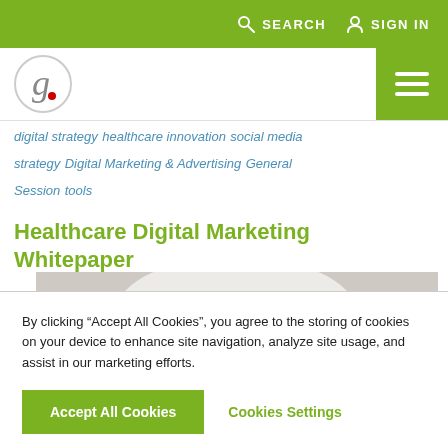SEARCH   SIGN IN
[Figure (logo): Circular logo with letter g and red dot, on white background with green hamburger menu icon]
digital strategy   healthcare innovation   social media strategy   Digital Marketing & Advertising   General Session   tools
Healthcare Digital Marketing Whitepaper
[Figure (photo): Close-up photo of hands holding a white tablet or paper, person wearing white shirt, blurred background]
By clicking “Accept All Cookies”, you agree to the storing of cookies on your device to enhance site navigation, analyze site usage, and assist in our marketing efforts.
Accept All Cookies   Cookies Settings